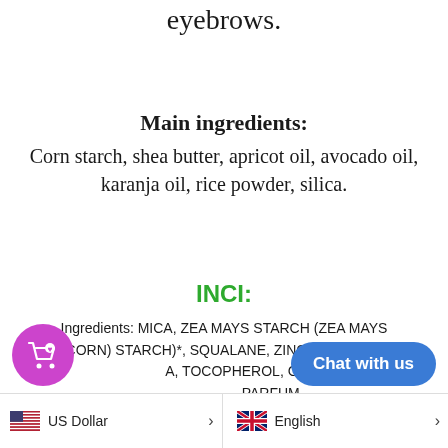eyebrows.
Main ingredients:
Corn starch, shea butter, apricot oil, avocado oil, karanja oil, rice powder, silica.
INCI:
Ingredients: MICA, ZEA MAYS STARCH (ZEA MAYS (CORN) STARCH)*, SQUALANE, ZINC STEARATE, A, TOCOPHEROL, GLYCER PARFUM (FRAGRANCE), ORYZA SATIVA POWDER (ORYZA
US Dollar  |  English